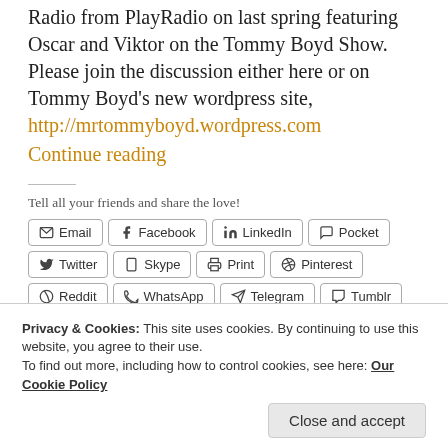Radio from PlayRadio on last spring featuring Oscar and Viktor on the Tommy Boyd Show. Please join the discussion either here or on Tommy Boyd's new wordpress site,
http://mrtommyboyd.wordpress.com
Continue reading
Tell all your friends and share the love!
Share buttons: Email, Facebook, LinkedIn, Pocket, Twitter, Skype, Print, Pinterest, Reddit, WhatsApp, Telegram, Tumblr
Privacy & Cookies: This site uses cookies. By continuing to use this website, you agree to their use. To find out more, including how to control cookies, see here: Our Cookie Policy